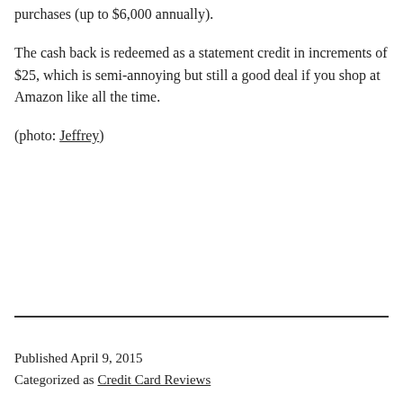purchases (up to $6,000 annually).
The cash back is redeemed as a statement credit in increments of $25, which is semi-annoying but still a good deal if you shop at Amazon like all the time.
(photo: Jeffrey)
Published April 9, 2015
Categorized as Credit Card Reviews